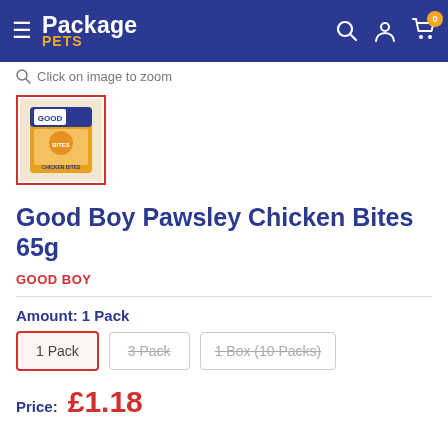Package PETS
Click on image to zoom
[Figure (photo): Product thumbnail of Good Boy Pawsley Chicken Bites 65g package, selected with red border]
Good Boy Pawsley Chicken Bites 65g
GOOD BOY
Amount: 1 Pack
1 Pack | 3 Pack | 1 Box (10 Packs)
Price: £1.18